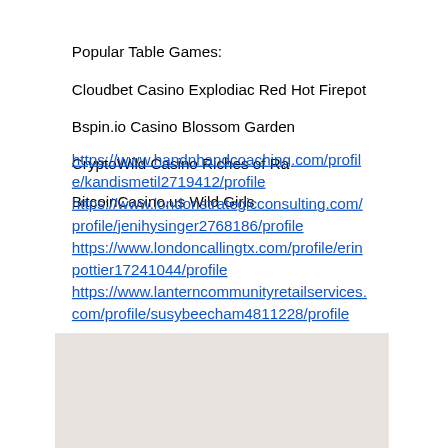Popular Table Games:
Cloudbet Casino Explodiac Red Hot Firepot
Bspin.io Casino Blossom Garden
CryptoWild Casino Riches of Ra
BitcoinCasino.us Wild Girls
https://www.handnhandcoaching.com/profile/kandismetil2719412/profile https://www.londonstrategicconsulting.com/profile/jenihysinger2768186/profile https://www.londoncallingtx.com/profile/erinpottier17241044/profile https://www.lanterncommunityretailservices.com/profile/susybeecham4811228/profile
[Figure (other): Light gray/beige rectangle at the bottom of the page]